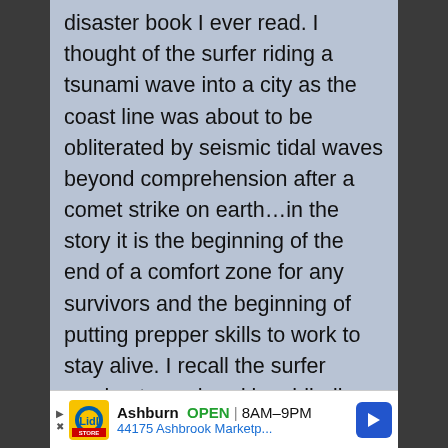disaster book I ever read. I thought of the surfer riding a tsunami wave into a city as the coast line was about to be obliterated by seismic tidal waves beyond comprehension after a comet strike on earth…in the story it is the beginning of the end of a comfort zone for any survivors and the beginning of putting prepper skills to work to stay alive. I recall the surfer coming to my head in a blinding flash of reality when I watched desperate people leaping to their
[Figure (infographic): Advertisement banner for Lidl store in Ashburn showing store logo, open hours 8AM-9PM, address 44175 Ashbrook Marketp... with navigation arrow icon]